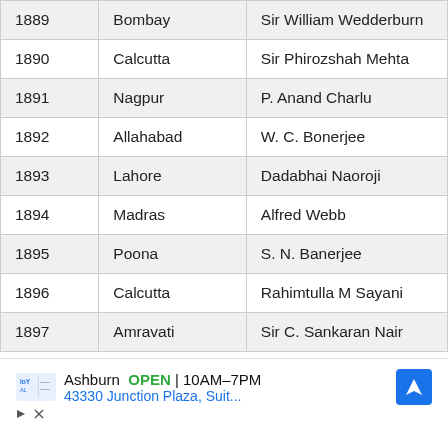| 1889 | Bombay | Sir William Wedderburn |
| 1890 | Calcutta | Sir Phirozshah Mehta |
| 1891 | Nagpur | P. Anand Charlu |
| 1892 | Allahabad | W. C. Bonerjee |
| 1893 | Lahore | Dadabhai Naoroji |
| 1894 | Madras | Alfred Webb |
| 1895 | Poona | S. N. Banerjee |
| 1896 | Calcutta | Rahimtulla M Sayani |
| 1897 | Amravati | Sir C. Sankaran Nair |
[Figure (other): Advertisement banner: Loyal store in Ashburn, OPEN 10AM-7PM, 43330 Junction Plaza, Suit... with navigation icon]